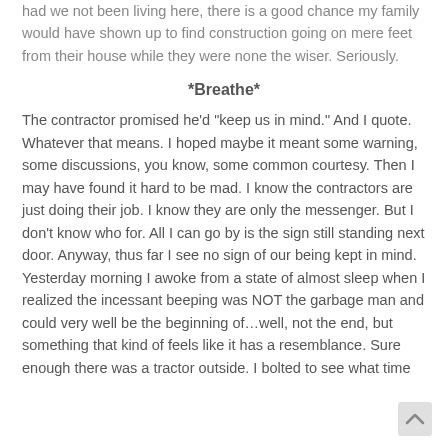…openness. The property valuation. What about the fact that, had we not been living here, there is a good chance my family would have shown up to find construction going on mere feet from their house while they were none the wiser. Seriously.
*Breathe*
The contractor promised he'd "keep us in mind." And I quote. Whatever that means. I hoped maybe it meant some warning, some discussions, you know, some common courtesy. Then I may have found it hard to be mad. I know the contractors are just doing their job. I know they are only the messenger. But I don't know who for. All I can go by is the sign still standing next door. Anyway, thus far I see no sign of our being kept in mind. Yesterday morning I awoke from a state of almost sleep when I realized the incessant beeping was NOT the garbage man and could very well be the beginning of…well, not the end, but something that kind of feels like it has a resemblance. Sure enough there was a tractor outside. I bolted to see what time